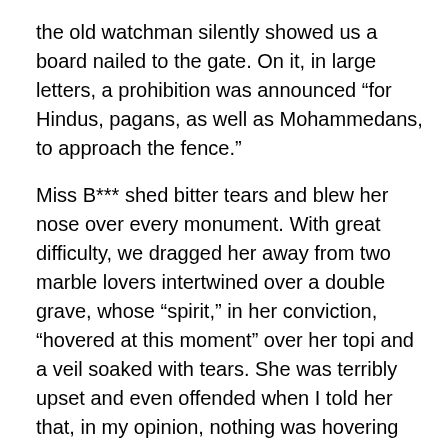the old watchman silently showed us a board nailed to the gate. On it, in large letters, a prohibition was announced “for Hindus, pagans, as well as Mohammedans, to approach the fence.”
Miss B*** shed bitter tears and blew her nose over every monument. With great difficulty, we dragged her away from two marble lovers intertwined over a double grave, whose “spirit,” in her conviction, “hovered at this moment” over her topi and a veil soaked with tears. She was terribly upset and even offended when I told her that, in my opinion, nothing was hovering here, except “the spirit of swagger and British arrogant pharisaism...”
“Ma chère,” sobbed the Englishwoman, “vous n’avez vraiment pas de Coeur...”[3]
“Perhaps,” I answered, “but I have something that you